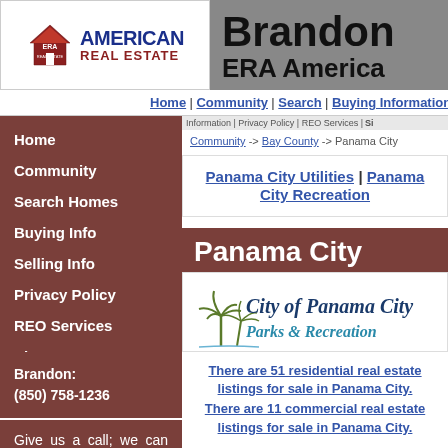[Figure (logo): ERA American Real Estate logo with house icon on left white panel; Brandon ERA American text on right gray panel]
Home | Community | Search | Buying Information | ...
Home
Community
Search Homes
Buying Info
Selling Info
Privacy Policy
REO Services
Sitemap
Brandon:
(850) 758-1236
Give us a call; we can help with it all!
Community -> Bay County -> Panama City
Panama City Utilities | Panama City Recreation
Panama City
[Figure (logo): City of Panama City Parks & Recreation logo with palm trees]
There are 51 residential real estate listings for sale in Panama City.
There are 11 commercial real estate listings for sale in Panama City.